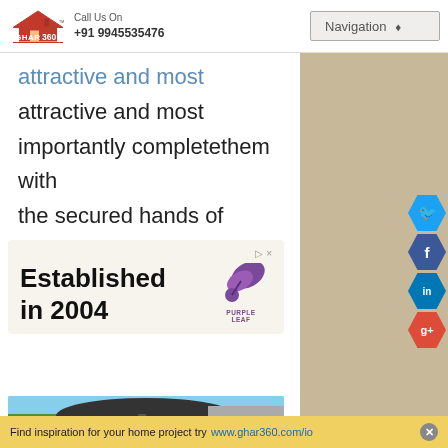GHAR 360 | Call Us On +91 9945535476 | Navigation
attractive and most importantly completethem with the secured hands of metal fencing.
[Figure (screenshot): Advertisement banner: 'Established in 2004' with Purple Leaf logo]
[Figure (photo): Photo of outdoor patio with large cantilever umbrella]
[Figure (infographic): Social media icons: Twitter, Facebook, LinkedIn, Google+]
Find inspiration for your home project try www.ghar360.com/id